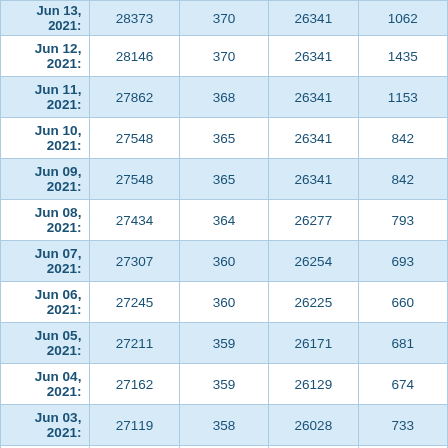| Date | Col1 | Col2 | Col3 | Col4 |
| --- | --- | --- | --- | --- |
| Jun 13, 2021: | 28373 | 370 | 26341 | 1062 |
| Jun 12, 2021: | 28146 | 370 | 26341 | 1435 |
| Jun 11, 2021: | 27862 | 368 | 26341 | 1153 |
| Jun 10, 2021: | 27548 | 365 | 26341 | 842 |
| Jun 09, 2021: | 27548 | 365 | 26341 | 842 |
| Jun 08, 2021: | 27434 | 364 | 26277 | 793 |
| Jun 07, 2021: | 27307 | 360 | 26254 | 693 |
| Jun 06, 2021: | 27245 | 360 | 26225 | 660 |
| Jun 05, 2021: | 27211 | 359 | 26171 | 681 |
| Jun 04, 2021: | 27162 | 359 | 26129 | 674 |
| Jun 03, 2021: | 27119 | 358 | 26028 | 733 |
| Jun 02, 2021: | 27064 | 358 | 25948 | 758 |
| Jun 01, 2021: | 27023 | 357 | 25850 | 816 |
| May 31, 2021: | 26963 | 353 | 25683 | 927 |
| May 30, 2021: | 26918 | 352 | 25609 | 957 |
| May 29, 2021: | 26892 | 352 | 25602 | 938 |
| May 28, 2021: | 26878 | 352 | 25542 | 984 |
| May 27, 2021: | 26843 | 351 | 25453 | 1039 |
| May 26, 2021: | 26817 | 350 | 25369 | 1098 |
| May 25, 2021: | 26780 | 349 | 25283 | 1148 |
| May 24, 2021: | 26730 | 349 | 25144 | 1237 |
| May 23, 2021: | 26688 | 349 | 25097 | 1242 |
| May 22, 2021: | 26658 | 349 | 24967 | 1342 |
| May 21, 2021: | 26601 | 349 | 24967 | 1285 |